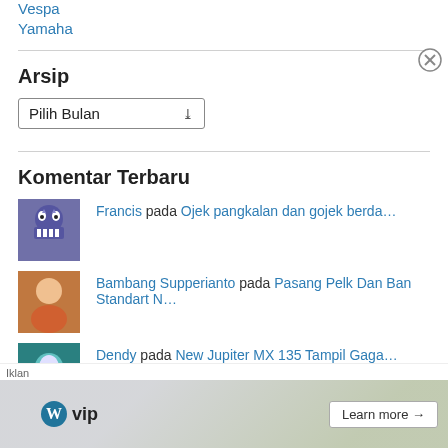Vespa
Yamaha
Arsip
Pilih Bulan (dropdown)
Komentar Terbaru
Francis pada Ojek pangkalan dan gojek berda…
Bambang Supperianto pada Pasang Pelk Dan Ban Standart N…
Dendy pada New Jupiter MX 135 Tampil Gaga…
Iklan — WordPress VIP — Learn more →